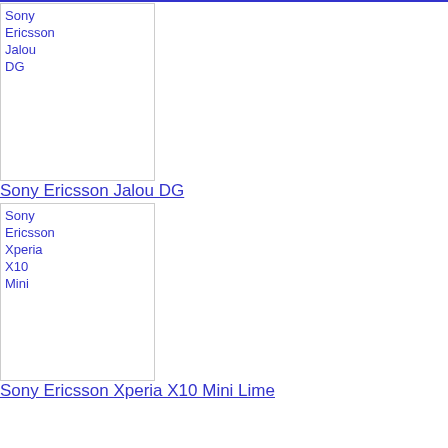Sony Ericsson Jalou DG
Sony Ericsson Xperia X10 Mini Lime
Sony Ericsson Xperia X10 Mini White
Sony Ericsson XPERIA X10 Mini Black
Sony Ericsson XPERIA (partial)